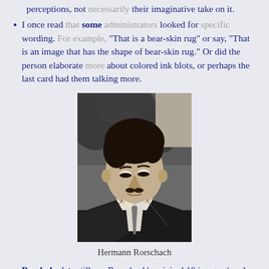I once read that some administrators looked for specific wording. For example, "That is a bear-skin rug" or say, "That is an image that has the shape of bear-skin rug." Or did the person elaborate more about colored ink blots, or perhaps the last card had them talking more.
[Figure (photo): Black and white photograph of Hermann Rorschach, a man in a dark suit with a tie, looking downward, with dark swept-back hair and a small mustache.]
Hermann Rorschach
Psychologists still use Rorschach's original 10 images (made in the early 1900s and published in 1921). However, according to Butcher (2010), Wikipedia has